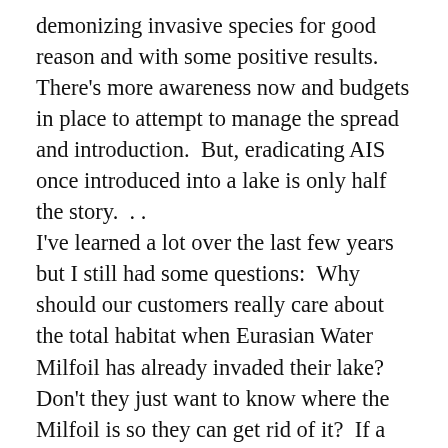demonizing invasive species for good reason and with some positive results.  There's more awareness now and budgets in place to attempt to manage the spread and introduction.  But, eradicating AIS once introduced into a lake is only half the story.  . .
I've learned a lot over the last few years but I still had some questions:  Why should our customers really care about the total habitat when Eurasian Water Milfoil has already invaded their lake?  Don't they just want to know where the Milfoil is so they can get rid of it?  If a monitoring program can't distinguish between species does it still have a use in aquatic research or management?  I originally thought that ide... the Milfoil is